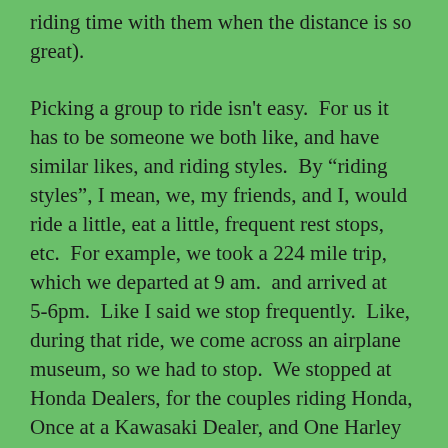riding time with them when the distance is so great).
Picking a group to ride isn't easy.  For us it has to be someone we both like, and have similar likes, and riding styles.  By "riding styles", I mean, we, my friends, and I, would ride a little, eat a little, frequent rest stops,  etc.  For example, we took a 224 mile trip, which we departed at 9 am.  and arrived at 5-6pm.  Like I said we stop frequently.  Like, during that ride, we come across an airplane museum, so we had to stop.  We stopped at Honda Dealers, for the couples riding Honda, Once at a Kawasaki Dealer, and One Harley Dealer for our Harley riders.  Plus we stopped around 10 am for breakfast, and around 2pm for dinner.  Not to